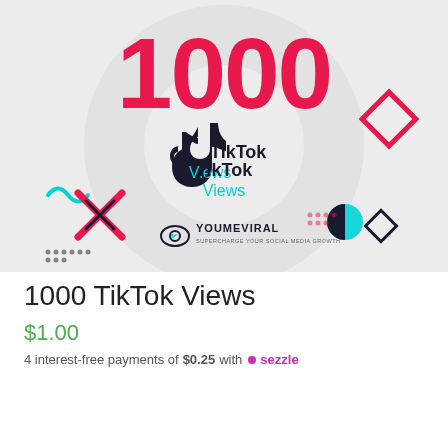[Figure (illustration): Promotional banner for 1000 TikTok Views product. Large bold red/pink number '1000' at top on light gray background with decorative geometric shapes (diamond outline, X cross, squiggly line, dots, circle). TikTok logo and text 'TikTok Views' in center with YouMeViral logo below.]
1000 TikTok Views
$1.00
4 interest-free payments of $0.25 with Sezzle